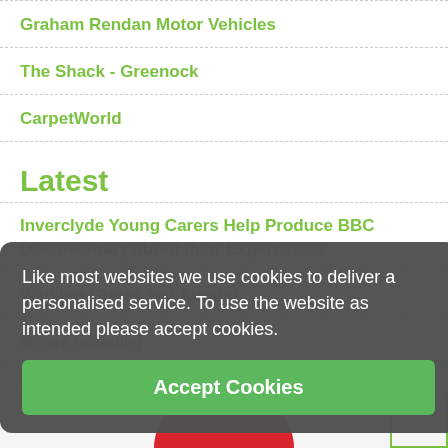Graham Rendan Motor Vehicles
The Shack - Greenock
CarpetWorld
Latest
Inverclyde Young Carers Help Produce BBC Documentary about their Experiences
Walking Group 2nd August
We are recruiting
Kindness Award for Carers Centre
Like most websites we use cookies to deliver a personalised service. To use the website as intended please accept cookies.
Accept Cookies